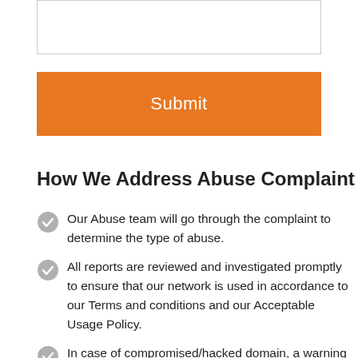[Figure (other): Text input box (form field)]
[Figure (other): Orange Submit button]
How We Address Abuse Complaint
Our Abuse team will go through the complaint to determine the type of abuse.
All reports are reviewed and investigated promptly to ensure that our network is used in accordance to our Terms and conditions and our Acceptable Usage Policy.
In case of compromised/hacked domain, a warning will be sent to the domain registrant. If the registrant fails to remove the unauthorized content, the domain will be suspended.
All abuse reports will be investigated within 48 hours